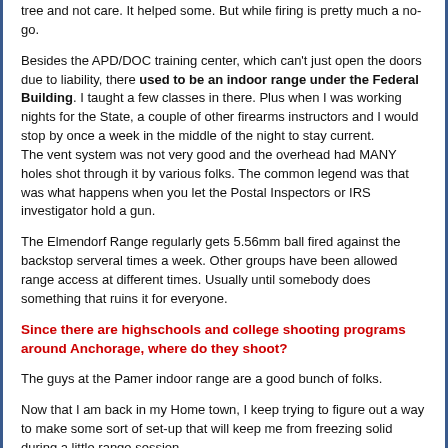tree and not care. It helped some. But while firing is pretty much a no-go.
Besides the APD/DOC training center, which can't just open the doors due to liability, there used to be an indoor range under the Federal Building. I taught a few classes in there. Plus when I was working nights for the State, a couple of other firearms instructors and I would stop by once a week in the middle of the night to stay current.
The vent system was not very good and the overhead had MANY holes shot through it by various folks. The common legend was that was what happens when you let the Postal Inspectors or IRS investigator hold a gun.
The Elmendorf Range regularly gets 5.56mm ball fired against the backstop serveral times a week. Other groups have been allowed range access at different times. Usually until somebody does something that ruins it for everyone.
Since there are highschools and college shooting programs around Anchorage, where do they shoot?
The guys at the Pamer indoor range are a good bunch of folks.
Now that I am back in my Home town, I keep trying to figure out a way to make some sort of set-up that will keep me from freezing solid during a little range session.
Float-CFI, Photo Guide, Fishing Guide, Remote Kayaking Guest Cabin, Flight Reviews, Aerial Tours